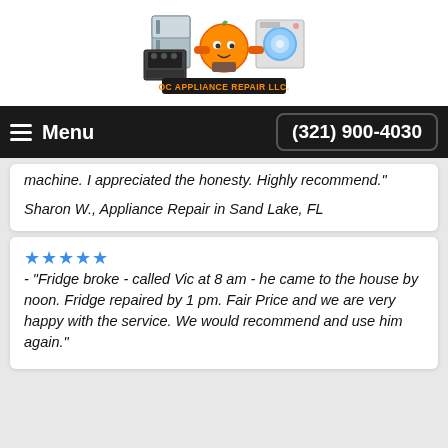[Figure (logo): OC Appliance Repair LLC logo — cartoon orange mascot holding appliances (refrigerator, washer, stove) with text 'OC APPLIANCE REPAIR LLC.' below]
Menu  (321) 900-4030
machine. I appreciated the honesty. Highly recommend."
Sharon W., Appliance Repair in Sand Lake, FL
★★★★★ - "Fridge broke - called Vic at 8 am - he came to the house by noon. Fridge repaired by 1 pm. Fair Price and we are very happy with the service. We would recommend and use him again."